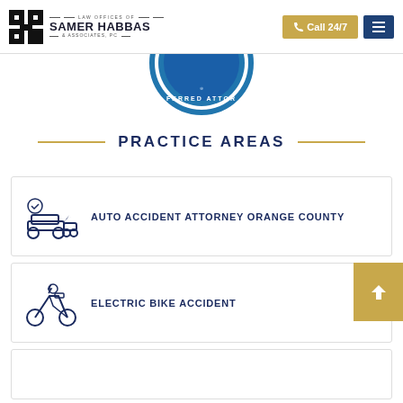Law Offices of Samer Habbas & Associates, PC — Call 24/7
[Figure (logo): Partially visible circular blue badge with text 'PREFERRED ATTORNEY']
PRACTICE AREAS
AUTO ACCIDENT ATTORNEY ORANGE COUNTY
ELECTRIC BIKE ACCIDENT